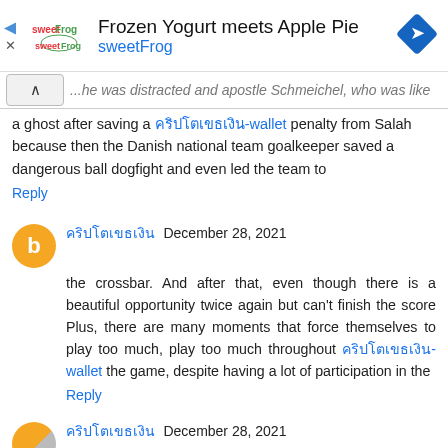[Figure (advertisement): SweetFrog frozen yogurt advertisement banner with logo, title 'Frozen Yogurt meets Apple Pie', subtitle 'sweetFrog', and a blue diamond navigation icon on the right.]
...he was distracted and apostle Schmeichel, who was like a ghost after saving a [Thai text]-wallet penalty from Salah because then the Danish national team goalkeeper saved a dangerous ball dogfight and even led the team to
Reply
[Thai text]  December 28, 2021
the crossbar. And after that, even though there is a beautiful opportunity twice again but can't finish the score Plus, there are many moments that force themselves to play too much, play too much throughout [Thai text]-wallet the game, despite having a lot of participation in the
Reply
[Thai text]  December 28, 2021